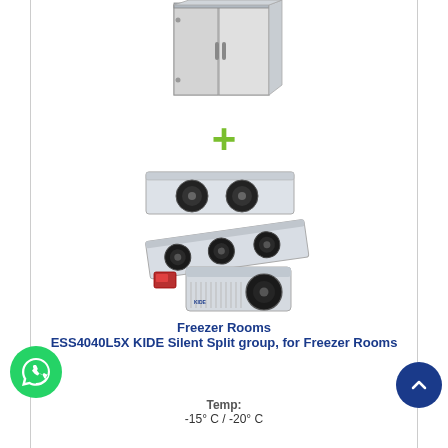[Figure (photo): Cold room / freezer room insulated panel unit with door]
[Figure (photo): Green plus sign separator symbol]
[Figure (photo): KIDE Silent Split refrigeration group units - evaporators and condensing unit shown]
Freezer Rooms ESS4040L5X KIDE Silent Split group, for Freezer Rooms
Temp: -15° C / -20° C